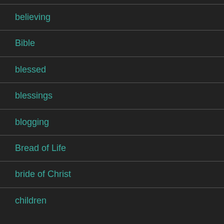believing
Bible
blessed
blessings
blogging
Bread of Life
bride of Christ
children